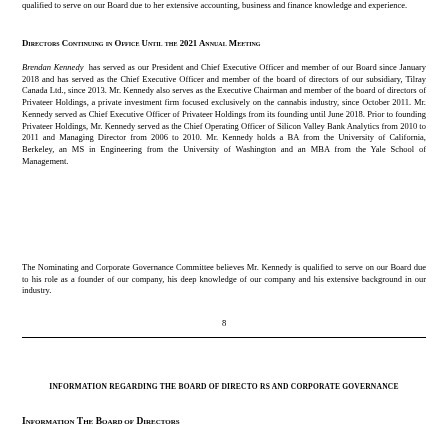qualified to serve on our Board due to her extensive accounting, business and finance knowledge and experience.
Directors Continuing in Office Until the 2021 Annual Meeting
Brendan Kennedy has served as our President and Chief Executive Officer and member of our Board since January 2018 and has served as the Chief Executive Officer and member of the board of directors of our subsidiary, Tilray Canada Ltd., since 2013. Mr. Kennedy also serves as the Executive Chairman and member of the board of directors of Privateer Holdings, a private investment firm focused exclusively on the cannabis industry, since October 2011. Mr. Kennedy served as Chief Executive Officer of Privateer Holdings from its founding until June 2018. Prior to founding Privateer Holdings, Mr. Kennedy served as the Chief Operating Officer of Silicon Valley Bank Analytics from 2010 to 2011 and Managing Director from 2006 to 2010. Mr. Kennedy holds a BA from the University of California, Berkeley, an MS in Engineering from the University of Washington and an MBA from the Yale School of Management.
The Nominating and Corporate Governance Committee believes Mr. Kennedy is qualified to serve on our Board due to his role as a founder of our company, his deep knowledge of our company and his extensive background in our industry.
8
INFORMATION REGARDING THE BOARD OF DIRECTORS AND CORPORATE GOVERNANCE